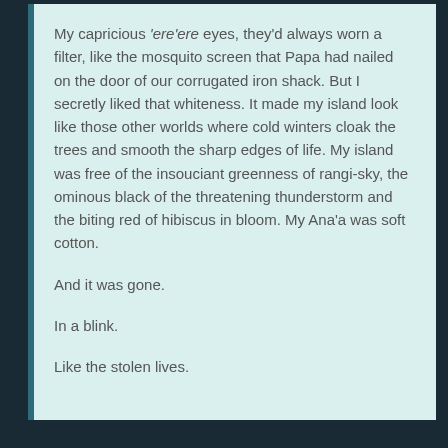My capricious ‘ere‘ere eyes, they’d always worn a filter, like the mosquito screen that Papa had nailed on the door of our corrugated iron shack. But I secretly liked that whiteness. It made my island look like those other worlds where cold winters cloak the trees and smooth the sharp edges of life. My island was free of the insouciant greenness of rangi-sky, the ominous black of the threatening thunderstorm and the biting red of hibiscus in bloom. My Ana‘a was soft cotton.
And it was gone.
In a blink.
Like the stolen lives.